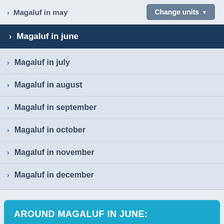Magaluf in may
Magaluf in june
Magaluf in july
Magaluf in august
Magaluf in september
Magaluf in october
Magaluf in november
Magaluf in december
AROUND MAGALUF IN JUNE: